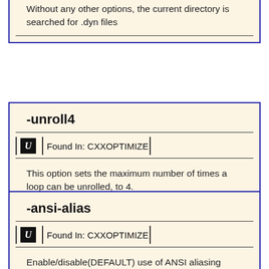Without any other options, the current directory is searched for .dyn files
-unroll4
Found In: CXXOPTIMIZE
This option sets the maximum number of times a loop can be unrolled, to 4.
-ansi-alias
Found In: CXXOPTIMIZE
Enable/disable(DEFAULT) use of ANSI aliasing rules in optimizations; user asserts that the program adheres to these